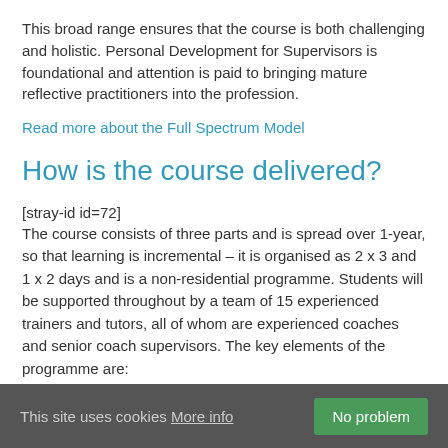This broad range ensures that the course is both challenging and holistic. Personal Development for Supervisors is foundational and attention is paid to bringing mature reflective practitioners into the profession.
Read more about the Full Spectrum Model
How is the course delivered?
[stray-id id=72]
The course consists of three parts and is spread over 1-year, so that learning is incremental – it is organised as 2 x 3 and 1 x 2 days and is a non-residential programme. Students will be supported throughout by a team of 15 experienced trainers and tutors, all of whom are experienced coaches and senior coach supervisors. The key elements of the programme are:
This site uses cookies More info   No problem